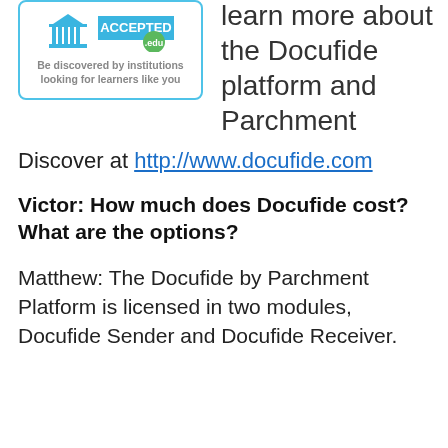[Figure (logo): Docufide by Parchment 'ACCEPTED .edu' badge logo with institution building icon and text 'Be discovered by institutions looking for learners like you']
agencies can learn more about the Docufide platform and Parchment
Discover at http://www.docufide.com
Victor: How much does Docufide cost? What are the options?
Matthew: The Docufide by Parchment Platform is licensed in two modules, Docufide Sender and Docufide Receiver.